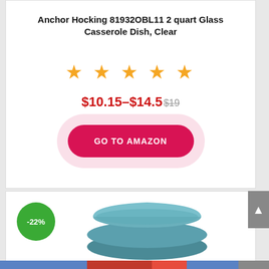Anchor Hocking 81932OBL11 2 quart Glass Casserole Dish, Clear
[Figure (infographic): Five orange star rating icons]
$10.15–$14.5 $19
[Figure (other): GO TO AMAZON button — red pill-shaped button with white uppercase text]
[Figure (photo): Teal/blue casserole dish with lid, shown with a green circle badge showing -22% discount]